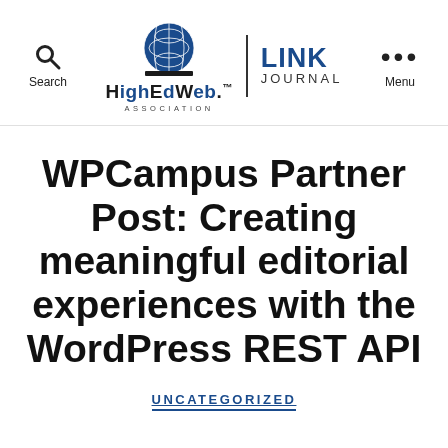Search | HighEdWeb Association LINK JOURNAL | Menu
WPCampus Partner Post: Creating meaningful editorial experiences with the WordPress REST API
UNCATEGORIZED